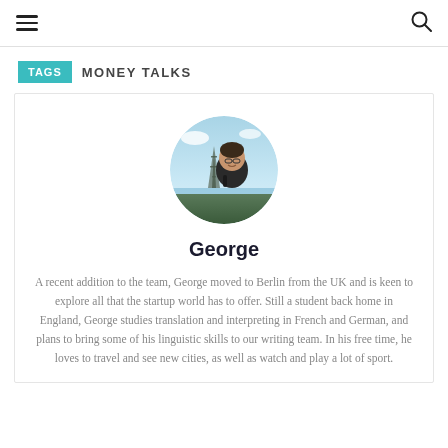≡  🔍
TAGS   MONEY TALKS
[Figure (photo): Circular profile photo of George with Eiffel Tower in background]
George
A recent addition to the team, George moved to Berlin from the UK and is keen to explore all that the startup world has to offer. Still a student back home in England, George studies translation and interpreting in French and German, and plans to bring some of his linguistic skills to our writing team. In his free time, he loves to travel and see new cities, as well as watch and play a lot of sport.